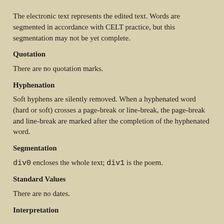The electronic text represents the edited text. Words are segmented in accordance with CELT practice, but this segmentation may not be yet complete.
Quotation
There are no quotation marks.
Hyphenation
Soft hyphens are silently removed. When a hyphenated word (hard or soft) crosses a page-break or line-break, the page-break and line-break are marked after the completion of the hyphenated word.
Segmentation
div0 encloses the whole text; div1 is the poem.
Standard Values
There are no dates.
Interpretation